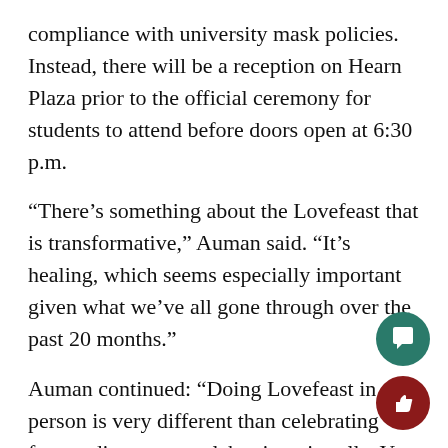compliance with university mask policies. Instead, there will be a reception on Hearn Plaza prior to the official ceremony for students to attend before doors open at 6:30 p.m.
“There’s something about the Lovefeast that is transformative,” Auman said. “It’s healing, which seems especially important given what we’ve all gone through over the past 20 months.”
Auman continued: “Doing Lovefeast in person is very different than celebrating from a distance or celebrating virtually. You can gather people around you and celebrate the Lovefeast via live stream, but to do it in person really is quite remarkable. The Lovefeast itself acts upon us in different ways and that can be just a lovely moment.”